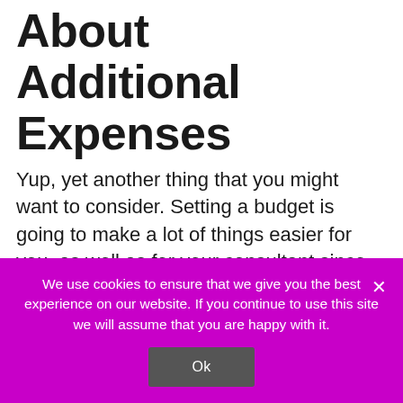About Additional Expenses
Yup, yet another thing that you might want to consider. Setting a budget is going to make a lot of things easier for you, as well as for your consultant since the consultant will be able to show you the attire that fits your budget. Hence, setting a budget and sticking to it is quite important – especially if you are on a tight budget.
We use cookies to ensure that we give you the best experience on our website. If you continue to use this site we will assume that you are happy with it.